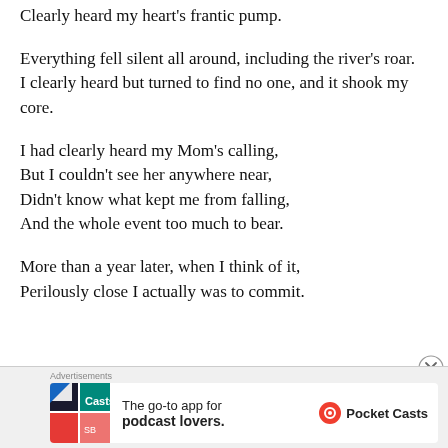Clearly heard my heart's frantic pump.
Everything fell silent all around, including the river's roar.
I clearly heard but turned to find no one, and it shook my core.
I had clearly heard my Mom's calling,
But I couldn't see her anywhere near,
Didn't know what kept me from falling,
And the whole event too much to bear.
More than a year later, when I think of it,
Perilously close I actually was to commit.
[Figure (infographic): Advertisement banner for Pocket Casts podcast app with colorful logo tiles on left, text 'The go-to app for podcast lovers.' in center, and Pocket Casts logo on right.]